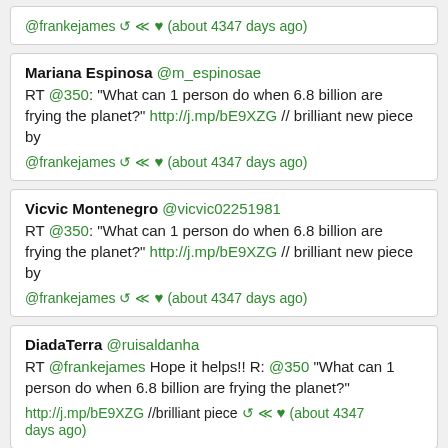@frankejames [retweet] [reply] [heart] (about 4347 days ago)
Mariana Espinosa @m_espinosae
RT @350: "What can 1 person do when 6.8 billion are frying the planet?" http://j.mp/bE9XZG // brilliant new piece by @frankejames [retweet] [reply] [heart] (about 4347 days ago)
Vicvic Montenegro @vicvic02251981
RT @350: "What can 1 person do when 6.8 billion are frying the planet?" http://j.mp/bE9XZG // brilliant new piece by @frankejames [retweet] [reply] [heart] (about 4347 days ago)
DiadaTerra @ruisaldanha
RT @frankejames Hope it helps!! R: @350 "What can 1 person do when 6.8 billion are frying the planet?" http://j.mp/bE9XZG //brilliant piece [retweet] [reply] [heart] (about 4347 days ago)